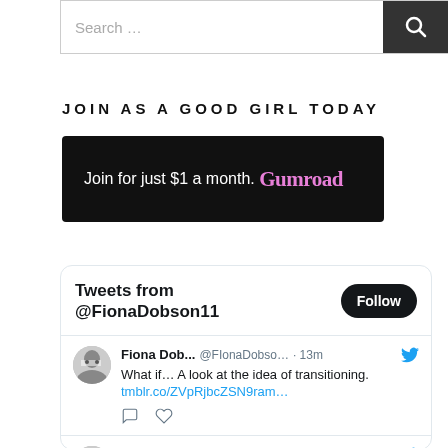Search ...
JOIN AS A GOOD GIRL TODAY
[Figure (other): Gumroad promotional banner: black background with white text 'Join for just $1 a month.' and pink Gumroad logo]
[Figure (screenshot): Twitter widget showing tweets from @FionaDobson11 with Follow button and tweet entries]
Fiona Dob... @FIonaDobso... · 13m — What if… A look at the idea of transitioning. tmblr.co/ZVpRjbcZSN9ram…
Fiona Dob... @FIonaDobso... · 35m — CLOTHES MAKETH THE MAN – PART 34